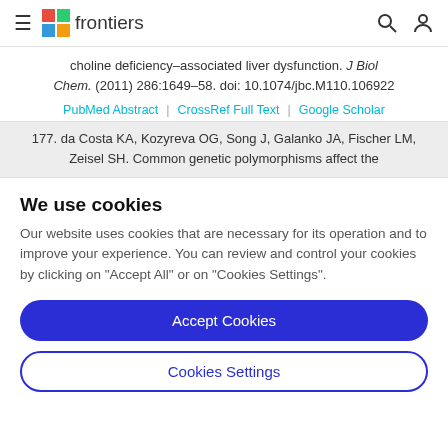frontiers
choline deficiency–associated liver dysfunction. J Biol Chem. (2011) 286:1649–58. doi: 10.1074/jbc.M110.106922
PubMed Abstract | CrossRef Full Text | Google Scholar
177. da Costa KA, Kozyreva OG, Song J, Galanko JA, Fischer LM, Zeisel SH. Common genetic polymorphisms affect the
We use cookies
Our website uses cookies that are necessary for its operation and to improve your experience. You can review and control your cookies by clicking on "Accept All" or on "Cookies Settings".
Accept Cookies
Cookies Settings